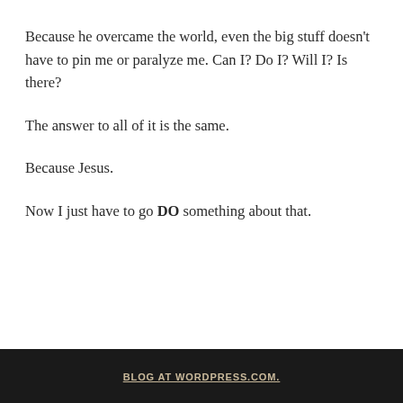Because he overcame the world, even the big stuff doesn't have to pin me or paralyze me. Can I? Do I? Will I? Is there?
The answer to all of it is the same.
Because Jesus.
Now I just have to go DO something about that.
BLOG AT WORDPRESS.COM.